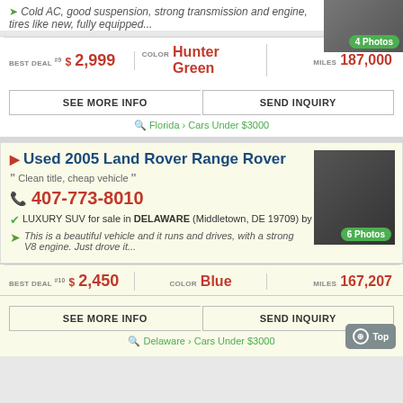Cold AC, good suspension, strong transmission and engine, tires like new, fully equipped...
BEST DEAL #9 $2,999 | COLOR Hunter Green | MILES 187,000
SEE MORE INFO | SEND INQUIRY
Florida > Cars Under $3000
Used 2005 Land Rover Range Rover
Clean title, cheap vehicle
407-773-8010
LUXURY SUV for sale in DELAWARE (Middletown, DE 19709) by Owner
This is a beautiful vehicle and it runs and drives, with a strong V8 engine. Just drove it...
BEST DEAL #10 $2,450 | COLOR Blue | MILES 167,207
SEE MORE INFO | SEND INQUIRY
Delaware > Cars Under $3000